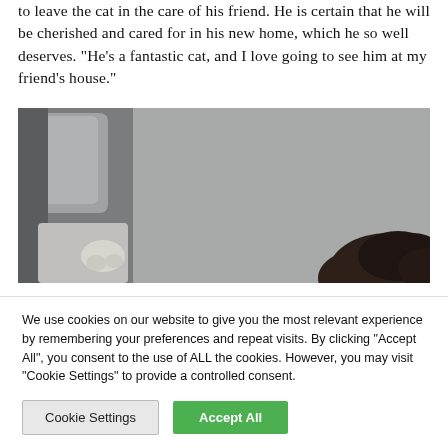to leave the cat in the care of his friend. He is certain that he will be cherished and cared for in his new home, which he so well deserves. "He's a fantastic cat, and I love going to see him at my friend's house."
[Figure (photo): Photo showing what appears to be a cat and a person's dark hair in the lower right corner, inside a vehicle or enclosed space.]
We use cookies on our website to give you the most relevant experience by remembering your preferences and repeat visits. By clicking "Accept All", you consent to the use of ALL the cookies. However, you may visit "Cookie Settings" to provide a controlled consent.